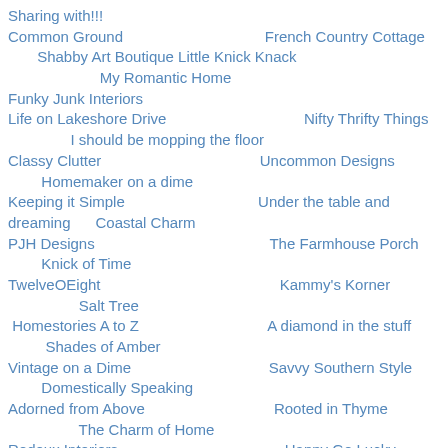Sharing with!!!
Common Ground   French Country Cottage   Shabby Art Boutique Little Knick Knack   My Romantic Home
Funky Junk Interiors
Life on Lakeshore Drive   Nifty Thrifty Things
   I should be mopping the floor
Classy Clutter   Uncommon Designs   Homemaker on a dime
Keeping it Simple   Under the table and dreaming   Coastal Charm
PJH Designs   The Farmhouse Porch   Knick of Time
TwelveOEight   Kammy's Korner
   Salt Tree
 Homestories A to Z   A diamond in the stuff   Shades of Amber
Vintage on a Dime   Savvy Southern Style   Domestically Speaking
Adorned from Above   Rooted in Thyme
   The Charm of Home
Redoux Interiors   Happy Go Lucky